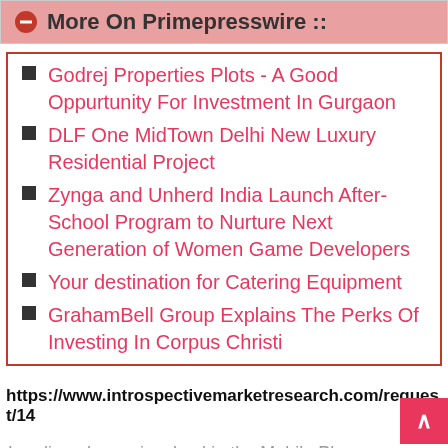More On Primepresswire ::
Godrej Properties Plots - A Good Oppurtunity For Investment In Gurgaon
DLF One MidTown Delhi New Luxury Residential Project
Zynga and Unherd India Launch After-School Program to Nurture Next Generation of Women Game Developers
Your destination for Catering Equipment
GrahamBell Group Explains The Perks Of Investing In Corpus Christi
https://www.introspectivemarketresearch.com/request/14
Leading players involved in the Mobile Phone Insurance Market includes:
AIG,Apple,AXA,Asurion,Assurant,Hollard